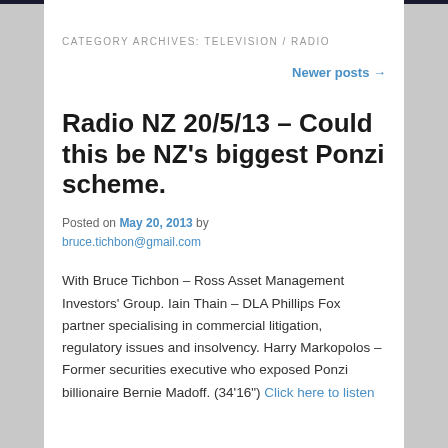CATEGORY ARCHIVES: TELEVISION / RADIO
Newer posts →
Radio NZ 20/5/13 – Could this be NZ's biggest Ponzi scheme.
Posted on May 20, 2013 by bruce.tichbon@gmail.com
With Bruce Tichbon – Ross Asset Management Investors' Group. Iain Thain – DLA Phillips Fox partner specialising in commercial litigation, regulatory issues and insolvency. Harry Markopolos – Former securities executive who exposed Ponzi billionaire Bernie Madoff. (34'16") Click here to listen